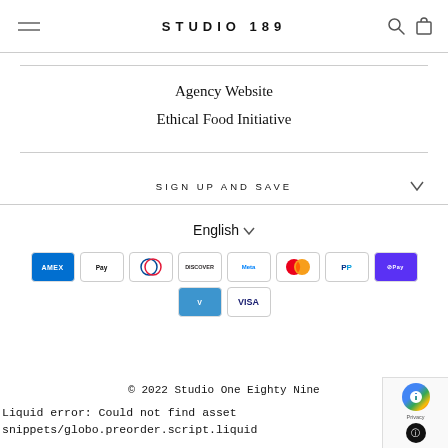STUDIO 189
Agency Website
Ethical Food Initiative
SIGN UP AND SAVE
English
[Figure (other): Payment method icons: AMEX, Apple Pay, Diners Club, Discover, Meta Pay, Mastercard, PayPal, Shop Pay, Venmo, Visa]
© 2022 Studio One Eighty Nine
Liquid error: Could not find asset snippets/globo.preorder.script.liquid